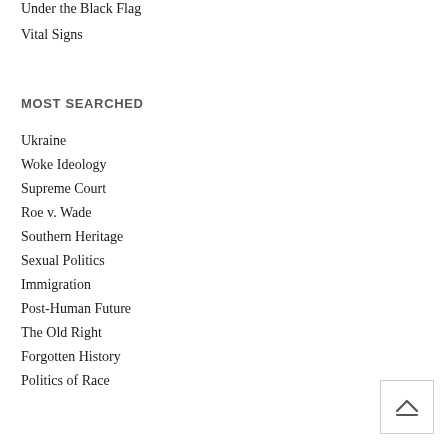Under the Black Flag
Vital Signs
MOST SEARCHED
Ukraine
Woke Ideology
Supreme Court
Roe v. Wade
Southern Heritage
Sexual Politics
Immigration
Post-Human Future
The Old Right
Forgotten History
Politics of Race